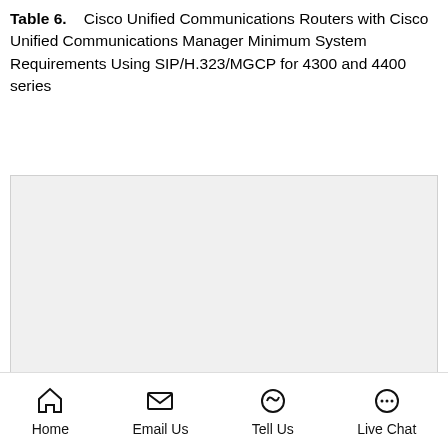Table 6. Cisco Unified Communications Routers with Cisco Unified Communications Manager Minimum System Requirements Using SIP/H.323/MGCP for 4300 and 4400 series
| Minimum Cisco Unified |
| --- |
Home | Email Us | Tell Us | Live Chat